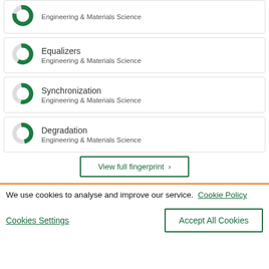Engineering & Materials Science
Equalizers — Engineering & Materials Science
Synchronization — Engineering & Materials Science
Degradation — Engineering & Materials Science
View full fingerprint
We use cookies to analyse and improve our service. Cookie Policy
Cookies Settings
Accept All Cookies